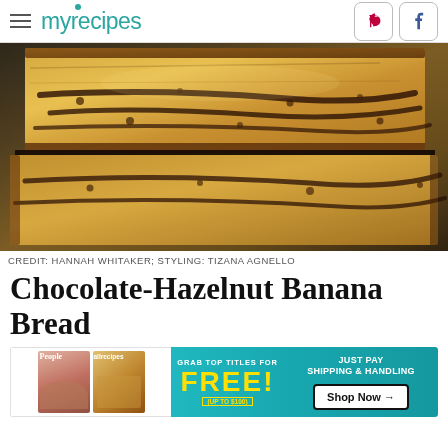myrecipes
[Figure (photo): Stacked slices of chocolate-hazelnut banana bread on a dark background showing swirls of chocolate and golden-brown crumb]
CREDIT: HANNAH WHITAKER; STYLING: TIZANA AGNELLO
Chocolate-Hazelnut Banana Bread
[Figure (infographic): Advertisement banner: Grab top titles for FREE! (up to $100) Just Pay Shipping & Handling – Shop Now. Features People and allrecipes magazine covers.]